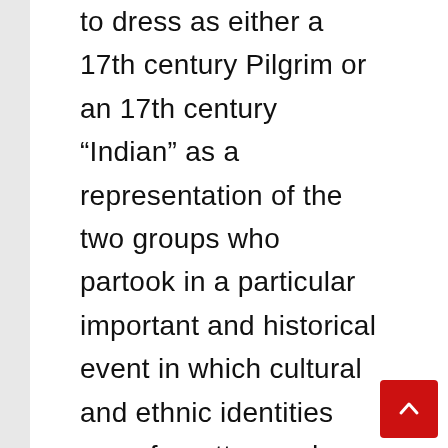to dress as either a 17th century Pilgrim or an 17th century “Indian” as a representation of the two groups who partook in a particular important and historical event in which cultural and ethnic identities were forgotten and friendships were made. To say that the party was intended to celebrate European conquest in America is ignorant, childish, and